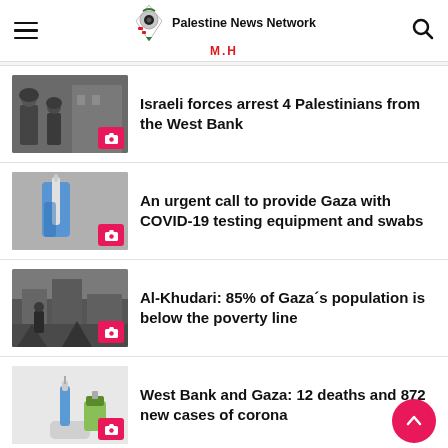Palestine News Network M.H
Israeli forces arrest 4 Palestinians from the West Bank
An urgent call to provide Gaza with COVID-19 testing equipment and swabs
Al-Khudari: 85% of Gaza´s population is below the poverty line
West Bank and Gaza: 12 deaths and 872 new cases of corona